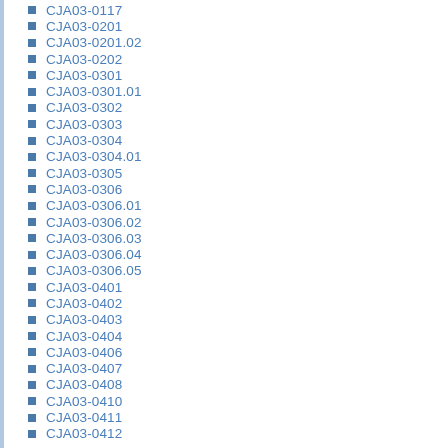CJA03-0117
CJA03-0201
CJA03-0201.02
CJA03-0202
CJA03-0301
CJA03-0301.01
CJA03-0302
CJA03-0303
CJA03-0304
CJA03-0304.01
CJA03-0305
CJA03-0306
CJA03-0306.01
CJA03-0306.02
CJA03-0306.03
CJA03-0306.04
CJA03-0306.05
CJA03-0401
CJA03-0402
CJA03-0403
CJA03-0404
CJA03-0406
CJA03-0407
CJA03-0408
CJA03-0410
CJA03-0411
CJA03-0412